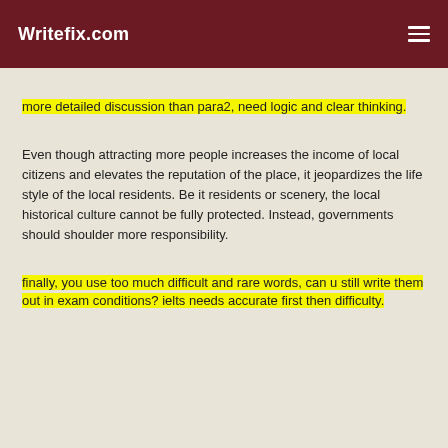Writefix.com
more detailed discussion than para2, need logic and clear thinking.
Even though attracting more people increases the income of local citizens and elevates the reputation of the place, it jeopardizes the life style of the local residents. Be it residents or scenery, the local historical culture cannot be fully protected. Instead, governments should shoulder more responsibility.
finally, you use too much difficult and rare words, can u still write them out in exam conditions? ielts needs accurate first then difficulty.